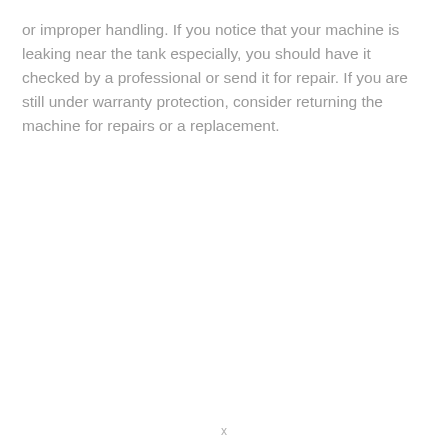or improper handling. If you notice that your machine is leaking near the tank especially, you should have it checked by a professional or send it for repair. If you are still under warranty protection, consider returning the machine for repairs or a replacement.
x